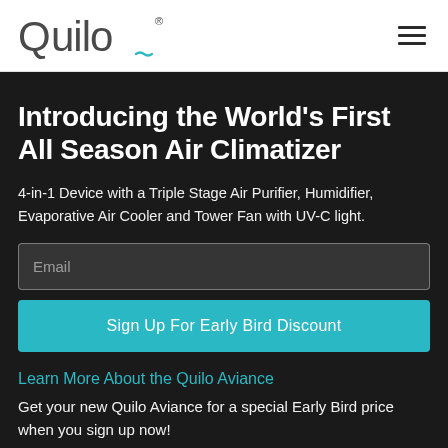[Figure (logo): Quilo brand logo with tilde accent and registered trademark symbol]
[Figure (other): Hamburger menu icon with three horizontal lines]
Introducing the World's First All Season Air Climatizer
4-in-1 Device with a Triple Stage Air Purifier, Humidifier, Evaporative Air Cooler and Tower Fan with UV-C light.
Sign Up For Early Bird Discount
Learn More About the Quilo Aviance
Get your new Quilo Aviance for a special Early Bird price when you sign up now!